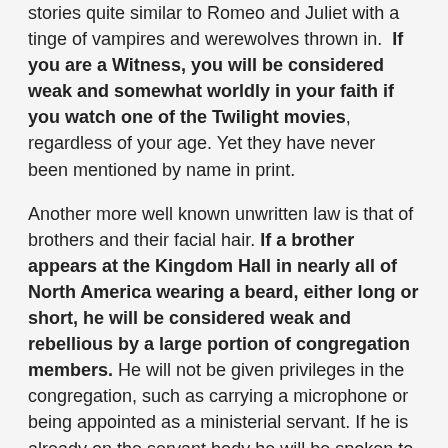stories quite similar to Romeo and Juliet with a tinge of vampires and werewolves thrown in. If you are a Witness, you will be considered weak and somewhat worldly in your faith if you watch one of the Twilight movies, regardless of your age. Yet they have never been mentioned by name in print.
Another more well known unwritten law is that of brothers and their facial hair. If a brother appears at the Kingdom Hall in nearly all of North America wearing a beard, either long or short, he will be considered weak and rebellious by a large portion of congregation members. He will not be given privileges in the congregation, such as carrying a microphone or being appointed as a ministerial servant. If he is already on the servant body he will be spoken to and then at some point deleted if he does not shave it. Some exceptions occur in isolated places like Alaska. However if you are located in the